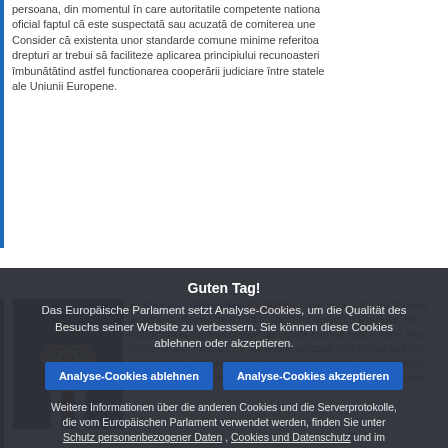persoana, din momentul în care autoritatile competente nationale oficializeaza oficial faptul ca este suspectata sau acuzata de comiterea unei. Consider ca existenta unor standarde comune minime referitoare la aceste drepturi ar trebui sa faciliteze aplicarea principiului recunoasterii reciproce, imbunatatind astfel functionarea cooperarii judiciare intre statele membre ale Uniunii Europene.
[Figure (photo): Portrait photo of Jean-Luc Mélenchon]
Jean-Luc Mélenchon (GUE/NGL), par écrit. – Ce texte comp avancées. Permettre à tout suspect l'obtention, sans délai, de s traduction et d'interprétation de qualité dans le cadre d'une proc pénale est primordial. Le fait que le langage des signes soit incl services est une nécessité. Notons cependant que la traduction ne doit pas être oubliée. Je m'abstiendrai néanmoins sur ce text
Guten Tag!
Das Europäische Parlament setzt Analyse-Cookies, um die Qualität des Besuchs seiner Website zu verbessern. Sie können diese Cookies ablehnen oder akzeptieren.
Analyse-Cookies ablehnen
Analyse-Cookies akzeptieren
Weitere Informationen über die anderen Cookies und die Serverprotokolle, die vom Europäischen Parlament verwendet werden, finden Sie unter Schutz personenbezogener Daten , Cookies und Datenschutz und im Cookie-Verzeichnis.